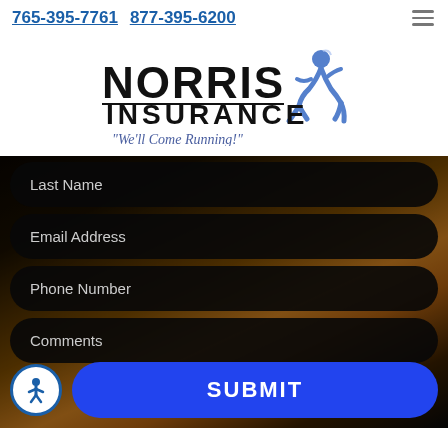765-395-7761  877-395-6200
[Figure (logo): Norris Insurance logo with runner figure and tagline 'We'll Come Running!']
Last Name
Email Address
Phone Number
Comments
SUBMIT